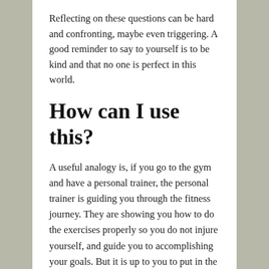Reflecting on these questions can be hard and confronting, maybe even triggering. A good reminder to say to yourself is to be kind and that no one is perfect in this world.
How can I use this?
A useful analogy is, if you go to the gym and have a personal trainer, the personal trainer is guiding you through the fitness journey. They are showing you how to do the exercises properly so you do not injure yourself, and guide you to accomplishing your goals. But it is up to you to put in the effort, what goals you set and your perspective. Similarly, a therapist will walk on the emotional journey alongside you, guide